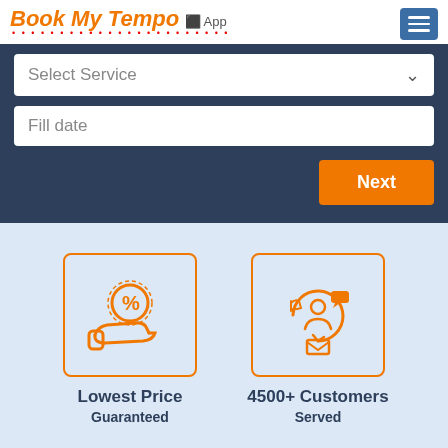Book My Tempo App
Select Service
Fill date
Next
[Figure (illustration): Orange icon of a hand holding a price/discount badge with percent symbol inside a square border]
Lowest Price
Guaranteed
[Figure (illustration): Orange icon of a customer service/people network inside a circular arrow, inside a square border]
4500+ Customers
Served